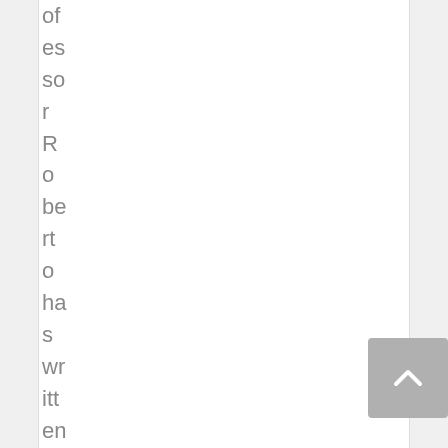of es so r R o be rt o ha s wr itt en tw o b o ok